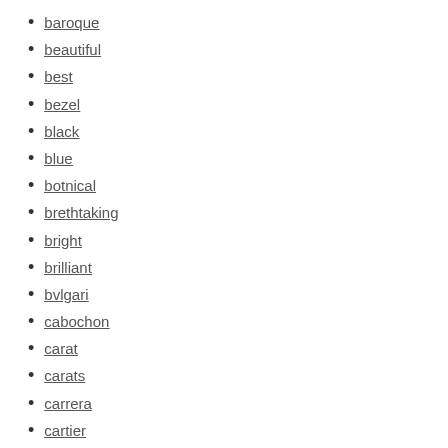baroque
beautiful
best
bezel
black
blue
botnical
brethtaking
bright
brilliant
bvlgari
cabochon
carat
carats
carrera
cartier
century